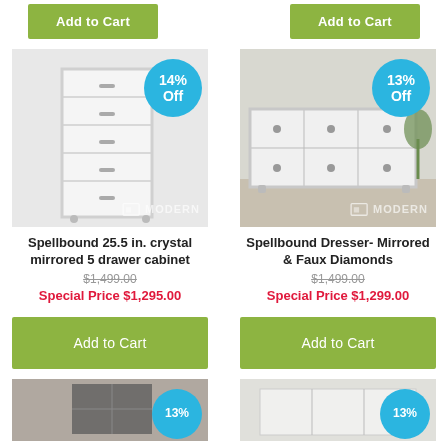Add to Cart
Add to Cart
[Figure (photo): Spellbound mirrored 5 drawer cabinet with crystal accents, white finish, 14% Off badge]
Spellbound 25.5 in. crystal mirrored 5 drawer cabinet
$1,499.00
Special Price $1,295.00
[Figure (photo): Spellbound Dresser- Mirrored & Faux Diamonds, wide 6-drawer dresser, white mirrored finish, 13% Off badge]
Spellbound Dresser- Mirrored & Faux Diamonds
$1,499.00
Special Price $1,299.00
Add to Cart
Add to Cart
[Figure (photo): Partial view of another dark furniture product with 13% Off badge]
[Figure (photo): Partial view of another mirrored furniture product with 13% Off badge]